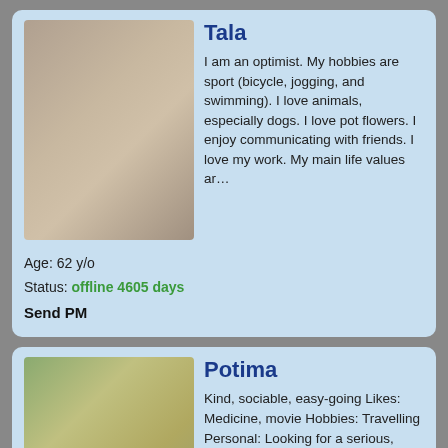Tala
I am an optimist. My hobbies are sport (bicycle, jogging, and swimming). I love animals, especially dogs. I love pot flowers. I enjoy communicating with friends. I love my work. My main life values ar…
Age: 62 y/o
Status: offline 4605 days
Send PM
Potima
Kind, sociable, easy-going Likes: Medicine, movie Hobbies: Travelling Personal: Looking for a serious, honest relationships Id like to meet you - intelligent, honest, nice and faithful man..,...
[Figure (photo): Profile photo of Tala]
[Figure (photo): Profile photo of Potima]